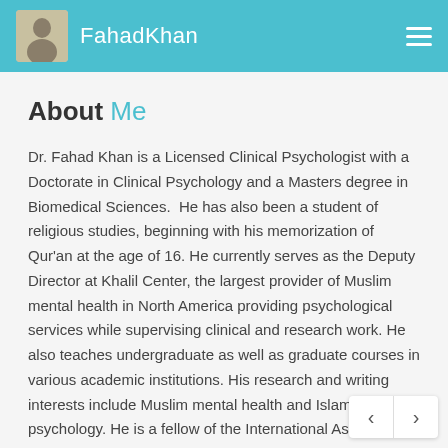FahadKhan
About Me
Dr. Fahad Khan is a Licensed Clinical Psychologist with a Doctorate in Clinical Psychology and a Masters degree in Biomedical Sciences.  He has also been a student of religious studies, beginning with his memorization of Qur'an at the age of 16. He currently serves as the Deputy Director at Khalil Center, the largest provider of Muslim mental health in North America providing psychological services while supervising clinical and research work. He also teaches undergraduate as well as graduate courses in various academic institutions. His research and writing interests include Muslim mental health and Islamic psychology. He is a fellow of the International Association of Islamic Psychology and